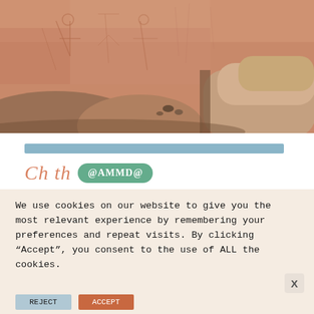[Figure (photo): Rock art petroglyphs on a sandstone cliff face with large boulders in foreground, warm terracotta and salmon tones]
[Figure (screenshot): Partial website content visible below photo: blue header bar, partial italic orange text and green rounded button, partially obscured]
We use cookies on our website to give you the most relevant experience by remembering your preferences and repeat visits. By clicking “Accept”, you consent to the use of ALL the cookies.
Do not sell my personal information.
[Figure (screenshot): Partial website bottom with gray and orange buttons, close X button, and SHE Media partner network advertisement banner at bottom: WE HELP CONTENT CREATORS GROW BUSINESSES THROUGH... with LEARN MORE button]